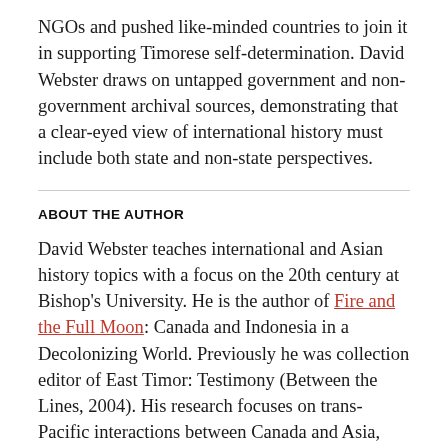NGOs and pushed like-minded countries to join it in supporting Timorese self-determination. David Webster draws on untapped government and non-government archival sources, demonstrating that a clear-eyed view of international history must include both state and non-state perspectives.
ABOUT THE AUTHOR
David Webster teaches international and Asian history topics with a focus on the 20th century at Bishop's University. He is the author of Fire and the Full Moon: Canada and Indonesia in a Decolonizing World. Previously he was collection editor of East Timor: Testimony (Between the Lines, 2004). His research focuses on trans-Pacific interactions between Canada and Asia, and on the diplomacy of independence movements in Asia.